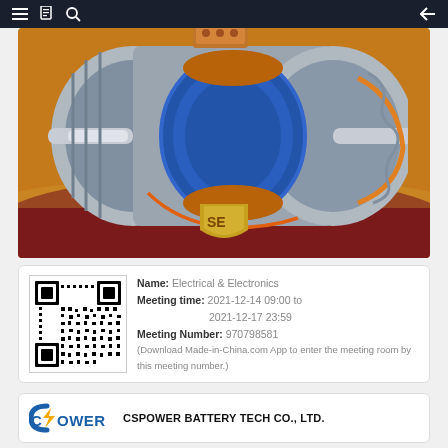Navigation bar with menu, document, search icons and back arrow
[Figure (illustration): Cutaway cross-section illustration of an electric motor showing blue stator coils, copper windings, gray housing, silver shaft, and orange wiring, set against an amber/brown background with a dark red curved panel at the bottom. SE logo shield visible at bottom center.]
Name: Electrical & Electronics
Meeting time: 2021-12-14 09:00 to 2021-12-17 23:59
Meeting Number: 970798581
(Download Made-in-China.com App to enter the meeting room by this meeting number.)
CSPOWER BATTERY TECH CO., LTD.